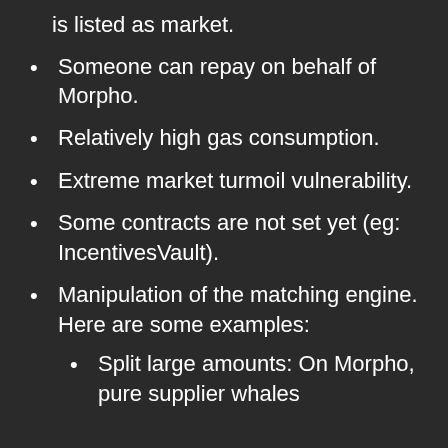is listed as market.
Someone can repay on behalf of Morpho.
Relatively high gas consumption.
Extreme market turmoil vulnerability.
Some contracts are not set yet (eg: IncentivesVault).
Manipulation of the matching engine. Here are some examples:
Split large amounts: On Morpho, pure supplier whales